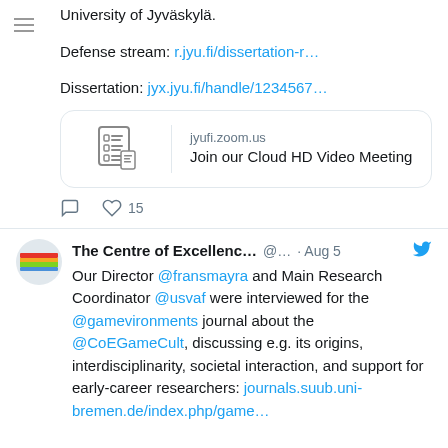University of Jyväskylä.
Defense stream: r.jyu.fi/dissertation-r…
Dissertation: jyx.jyu.fi/handle/1234567…
[Figure (screenshot): Zoom link preview card showing jyufi.zoom.us domain and 'Join our Cloud HD Video Meeting' title with a document icon]
♡ 15
The Centre of Excellenc... @... · Aug 5
Our Director @fransmayra and Main Research Coordinator @usvaf were interviewed for the @gamevironments journal about the @CoEGameCult, discussing e.g. its origins, interdisciplinarity, societal interaction, and support for early-career researchers: journals.suub.uni-bremen.de/index.php/game…